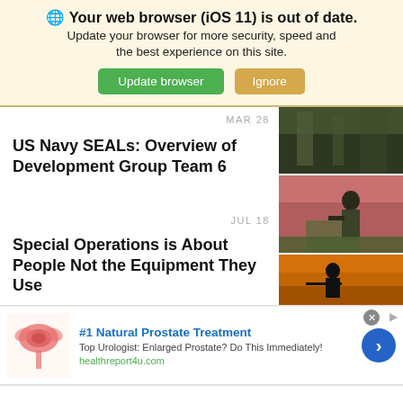🌐 Your web browser (iOS 11) is out of date. Update your browser for more security, speed and the best experience on this site. [Update browser] [Ignore]
MAR 28
US Navy SEALs: Overview of Development Group Team 6
[Figure (photo): Military/camouflage imagery and soldier in field with equipment]
JUL 18
Special Operations is About People Not the Equipment They Use
[Figure (photo): Silhouette of person with weapon against orange/yellow sunset sky]
[Figure (advertisement): Ad for #1 Natural Prostate Treatment - Top Urologist: Enlarged Prostate? Do This Immediately! healthreport4u.com]